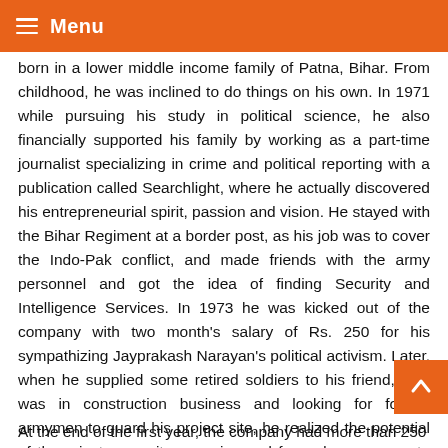Menu
born in a lower middle income family of Patna, Bihar. From childhood, he was inclined to do things on his own. In 1971 while pursuing his study in political science, he also financially supported his family by working as a part-time journalist specializing in crime and political reporting with a publication called Searchlight, where he actually discovered his entrepreneurial spirit, passion and vision. He stayed with the Bihar Regiment at a border post, as his job was to cover the Indo-Pak conflict, and made friends with the army personnel and got the idea of finding Security and Intelligence Services. In 1973 he was kicked out of the company with two month's salary of Rs. 250 for his sympathizing Jayprakash Narayan's political activism. Later, when he supplied some retired soldiers to his friend, who was in construction business and looking for former armymen to guard his project site, he realized the potential of the private security agencies and formed a company to handle such work for his friend who would pay him Rs. 400 per pe
At the end of the first year, the company had more than 250